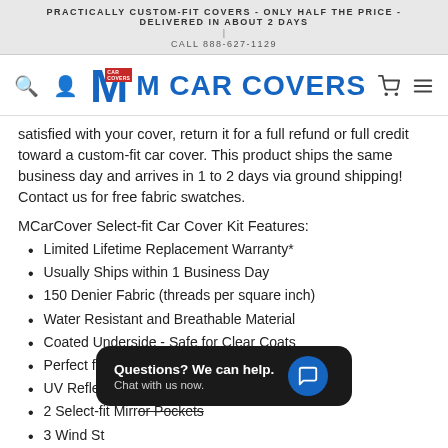PRACTICALLY CUSTOM-FIT COVERS - ONLY HALF THE PRICE - DELIVERED IN ABOUT 2 DAYS | CALL 888-627-1129
[Figure (logo): M Car Covers logo with blue M and red badge, bold blue text M CAR COVERS]
satisfied with your cover, return it for a full refund or full credit toward a custom-fit car cover. This product ships the same business day and arrives in 1 to 2 days via ground shipping! Contact us for free fabric swatches.
MCarCover Select-fit Car Cover Kit Features:
Limited Lifetime Replacement Warranty*
Usually Ships within 1 Business Day
150 Denier Fabric (threads per square inch)
Water Resistant and Breathable Material
Coated Underside - Safe for Clear Coats
Perfect for Indoor or Outdoor Use
UV Reflecting Silver Color
2 Select-fit Mirror Pockets
3 Wind Straps
Front and Rear Elastic
Free 7ft Coated Cable